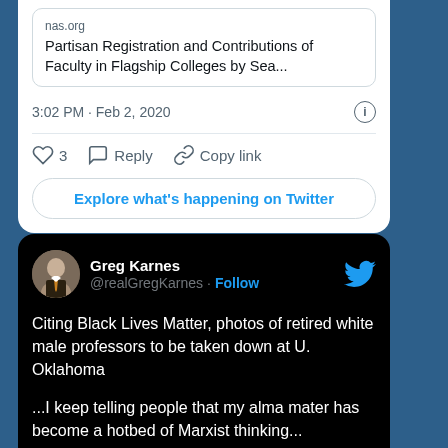[Figure (screenshot): Bottom portion of a Twitter/X tweet card on blue background showing a link preview for 'nas.org' with title 'Partisan Registration and Contributions of Faculty in Flagship Colleges by Sea...' and timestamp '3:02 PM · Feb 2, 2020', interaction icons (heart with count 3, Reply, Copy link), and an 'Explore what's happening on Twitter' button]
[Figure (screenshot): Twitter/X tweet card with dark/black background from user Greg Karnes (@realGregKarnes) with Follow button and Twitter bird icon. Tweet text: 'Citing Black Lives Matter, photos of retired white male professors to be taken down at U. Oklahoma ...I keep telling people that my alma mater has become a hotbed of Marxist thinking...' with a photo of a university campus building at the bottom.]